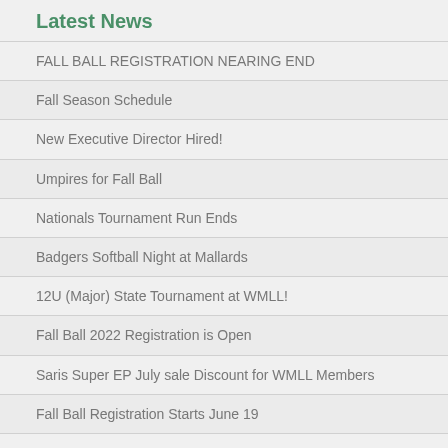Latest News
FALL BALL REGISTRATION NEARING END
Fall Season Schedule
New Executive Director Hired!
Umpires for Fall Ball
Nationals Tournament Run Ends
Badgers Softball Night at Mallards
12U (Major) State Tournament at WMLL!
Fall Ball 2022 Registration is Open
Saris Super EP July sale Discount for WMLL Members
Fall Ball Registration Starts June 19